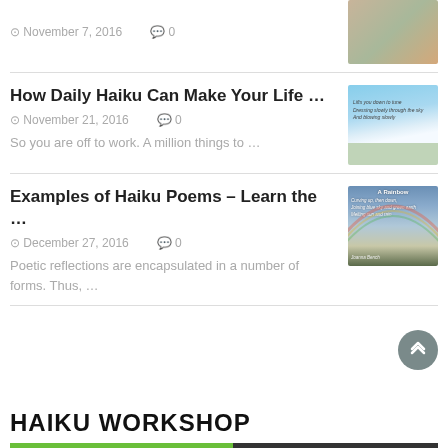November 7, 2016   0
[Figure (photo): Person sitting outdoors, partial view]
How Daily Haiku Can Make Your Life …
November 21, 2016   0
So you are off to work. A million things to …
[Figure (photo): Blue sky with clouds and haiku text overlay]
Examples of Haiku Poems – Learn the …
December 27, 2016   0
Poetic reflections are encapsulated in a number of forms. Thus, …
[Figure (photo): Rainbow over landscape with poem text overlay]
HAIKU WORKSHOP